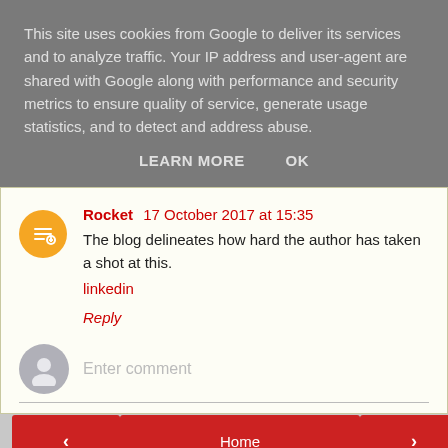This site uses cookies from Google to deliver its services and to analyze traffic. Your IP address and user-agent are shared with Google along with performance and security metrics to ensure quality of service, generate usage statistics, and to detect and address abuse.
LEARN MORE   OK
Rocket 17 October 2017 at 15:35
The blog delineates how hard the author has taken a shot at this.
linkedin

Reply
Enter comment
< Home >